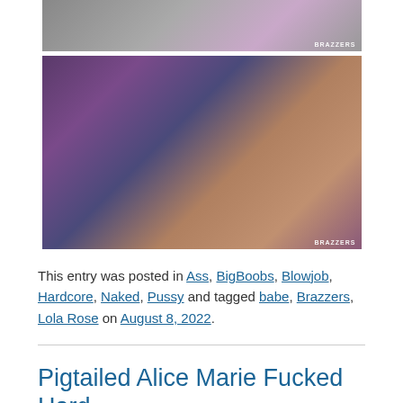[Figure (photo): Partial view of a Brazzers adult content image at top of page]
[Figure (photo): Brazzers adult content image showing two people in a purple-lit room]
This entry was posted in Ass, BigBoobs, Blowjob, Hardcore, Naked, Pussy and tagged babe, Brazzers, Lola Rose on August 8, 2022.
Pigtailed Alice Marie Fucked Hard